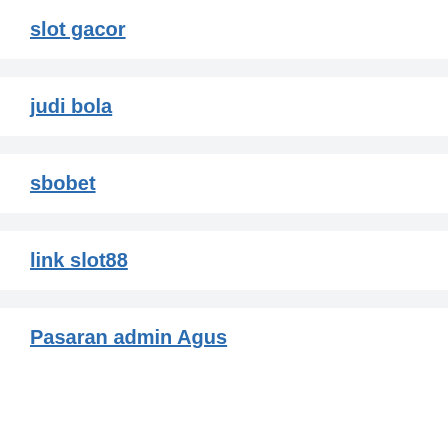slot gacor
judi bola
sbobet
link slot88
Pasaran admin Agus